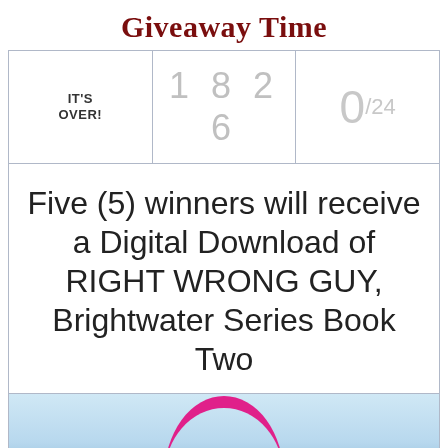Giveaway Time
| IT'S OVER! | 1 8 2 6 | 0/24 |
| --- | --- | --- |
Five (5) winners will receive a Digital Download of RIGHT WRONG GUY, Brightwater Series Book Two
[Figure (photo): Partial book cover image showing arc/rainbow shape against a sky blue background, magenta/pink curved element visible at bottom of strip]